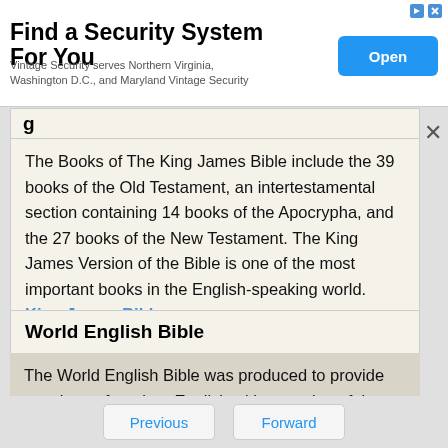[Figure (screenshot): Advertisement banner: 'Find a Security System For You' with Open button]
g...
The Books of The King James Bible include the 39 books of the Old Testament, an intertestamental section containing 14 books of the Apocrypha, and the 27 books of the New Testament. The King James Version of the Bible is one of the most important books in the English-speaking world. King James Bible.
World English Bible
The World English Bible was produced to provide speakers of modern English with a version of the Bible that is easily understood.
Previous   Forward